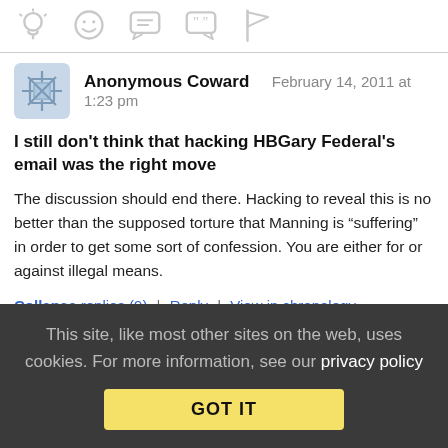[Figure (other): Row of 5 social action icons (lightbulb, smiley, chat bubble, quote bubble, flag) in gray]
Anonymous Coward   February 14, 2011 at 1:23 pm
I still don't think that hacking HBGary Federal's email was the right move
The discussion should end there. Hacking to reveal this is no better than the supposed torture that Manning is “suffering” in order to get some sort of confession. You are either for or against illegal means.
Collapse replies (9) | Reply | View in chronology
This site, like most other sites on the web, uses cookies. For more information, see our privacy policy
GOT IT